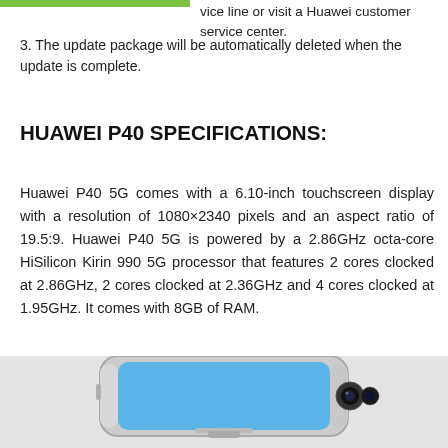vice line or visit a Huawei customer service center.
3. The update package will be automatically deleted when the update is complete.
HUAWEI P40 SPECIFICATIONS:
Huawei P40 5G comes with a 6.10-inch touchscreen display with a resolution of 1080×2340 pixels and an aspect ratio of 19.5:9. Huawei P40 5G is powered by a 2.86GHz octa-core HiSilicon Kirin 990 5G processor that features 2 cores clocked at 2.86GHz, 2 cores clocked at 2.36GHz and 4 cores clocked at 1.95GHz. It comes with 8GB of RAM.
[Figure (photo): Bottom view of a Huawei P40 smartphone showing the camera module and the device body in blue/silver color.]